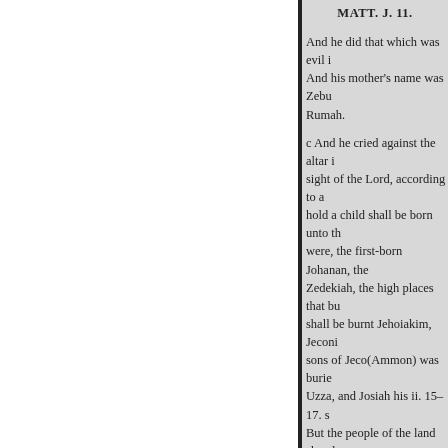MATT. J. 11.
And he did that which was evil i And his mother's name was Zebu Rumah.
c And he cried against the altar i sight of the Lord, according to a hold a child shall be born unto th were, the first-born Johanan, the Zedekiah, the high places that bu shall be burnt Jehoiakim, Jeconi sons of Jeco(Ammon) was burie Uzza, and Josiah his ii. 15–17. s But the people of the land slew l mighty men of valour, even ten t and made Josiah his son king in
And be carried a
VER. 11.
Babylon, and the king's mothe officers, and τους αδελφούς αυτο